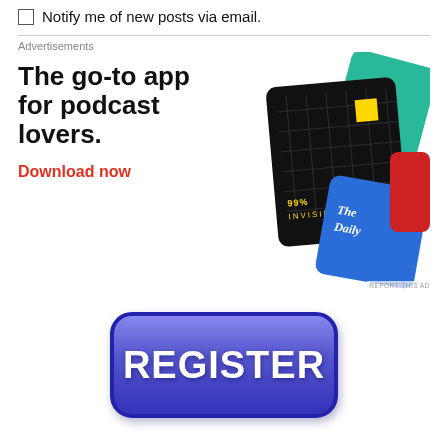Notify me of new posts via email.
Advertisements
[Figure (illustration): Pocket Casts advertisement: 'The go-to app for podcast lovers.' with Download now CTA and podcast card images showing 99% Invisible and The Daily podcards, plus Pocket Casts logo.]
[Figure (illustration): Blue rounded rectangle REGISTER button]